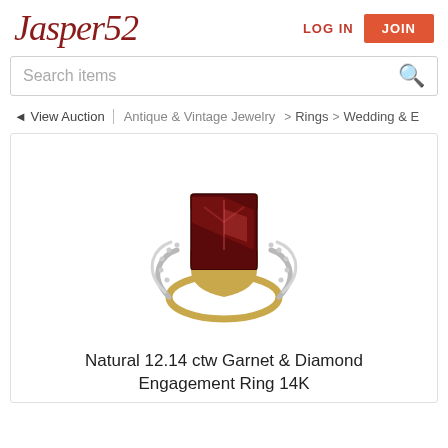Jasper52   LOG IN   JOIN
Search items
◄ View Auction | Antique & Vintage Jewelry > Rings > Wedding & E
[Figure (photo): Photo of a garnet and diamond engagement ring on a white background, set in 14K yellow gold with a large emerald-cut dark red garnet center stone and diamond accents on the band.]
Natural 12.14 ctw Garnet & Diamond Engagement Ring 14K